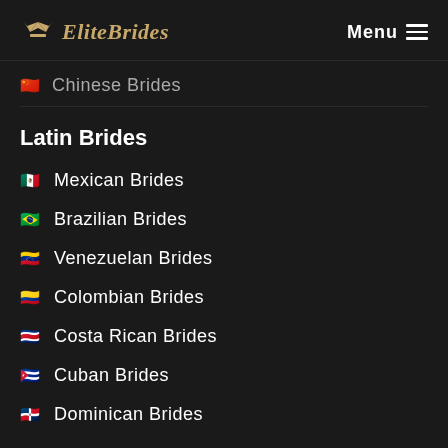EliteBrides  Menu
🇨🇳 Chinese Brides
Latin Brides
🇲🇽 Mexican Brides
🇧🇷 Brazilian Brides
🇻🇪 Venezuelan Brides
🇨🇴 Colombian Brides
🇨🇷 Costa Rican Brides
🇨🇺 Cuban Brides
🇩🇴 Dominican Brides